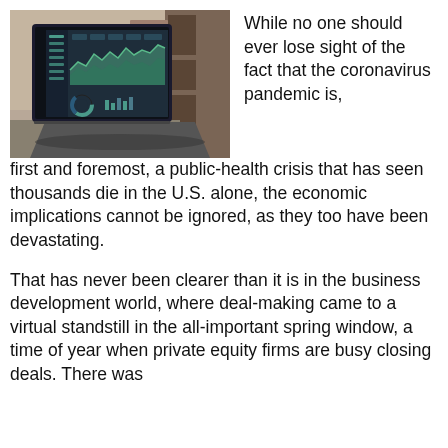[Figure (photo): A laptop computer on a desk displaying a financial analytics dashboard with green area charts and a donut chart, with a blurred office/home background.]
While no one should ever lose sight of the fact that the coronavirus pandemic is, first and foremost, a public-health crisis that has seen thousands die in the U.S. alone, the economic implications cannot be ignored, as they too have been devastating.
That has never been clearer than it is in the business development world, where deal-making came to a virtual standstill in the all-important spring window, a time of year when private equity firms are busy closing deals. There was